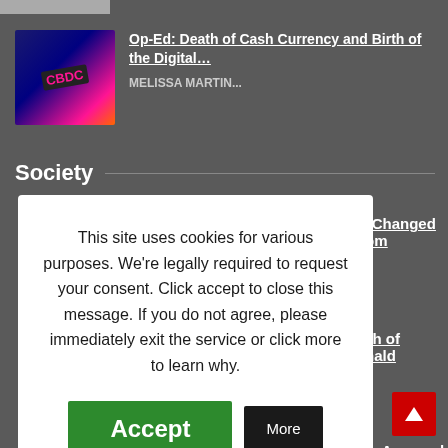[Figure (photo): Partial thumbnail image at top of page (cropped, partially visible)]
[Figure (photo): Thumbnail image of CBDC-labeled electronic device with blue/pink lighting]
Op-Ed: Death of Cash Currency and Birth of the Digital…
MELISSA MARTIN...
Society
en Changed From
Bash of Donald
Man Accused of
This site uses cookies for various purposes. We're legally required to request your consent. Click accept to close this message. If you do not agree, please immediately exit the service or click more to learn why.
Accept
More